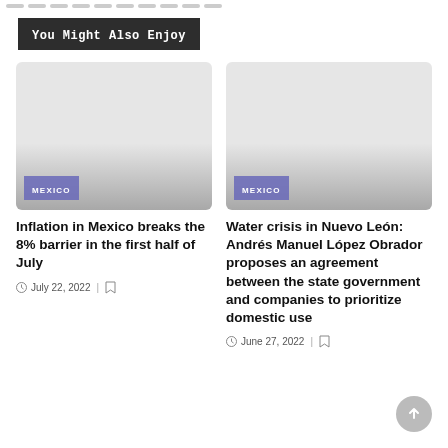You Might Also Enjoy
[Figure (photo): Placeholder image for article about inflation in Mexico with MEXICO category tag]
Inflation in Mexico breaks the 8% barrier in the first half of July
July 22, 2022
[Figure (photo): Placeholder image for article about water crisis in Nuevo León with MEXICO category tag]
Water crisis in Nuevo León: Andrés Manuel López Obrador proposes an agreement between the state government and companies to prioritize domestic use
June 27, 2022